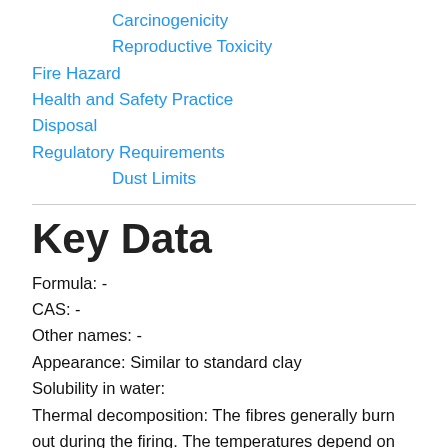Carcinogenicity
Reproductive Toxicity
Fire Hazard
Health and Safety Practice
Disposal
Regulatory Requirements
Dust Limits
Key Data
Formula: -
CAS: -
Other names: -
Appearance: Similar to standard clay
Solubility in water:
Thermal decomposition: The fibres generally burn out during the firing. The temperatures depend on the exact composition of the fibres, which are typically a combination of cellulose, hemi-cellulose and lignin, but the following is a